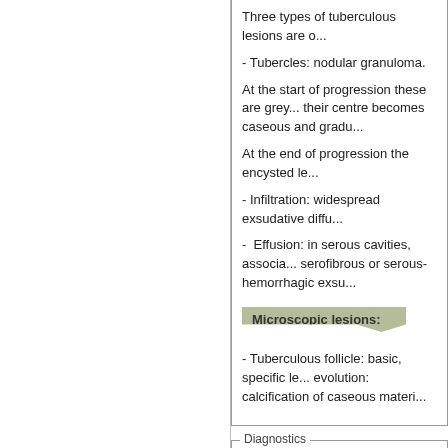Three types of tuberculous lesions are o...
- Tubercles: nodular granuloma.
At the start of progression these are grey... their centre becomes caseous and gradu...
At the end of progression the encysted le...
- Infiltration: widespread exsudative diffu...
- Effusion: in serous cavities, associa... serofibrous or serous-hemorrhagic exsu...
Microscopic lesions:
- Tuberculous follicle: basic, specific le... evolution: calcification of caseous materi...
Diagnostics
Clinical diagnosis:
Difficult and insufficient.